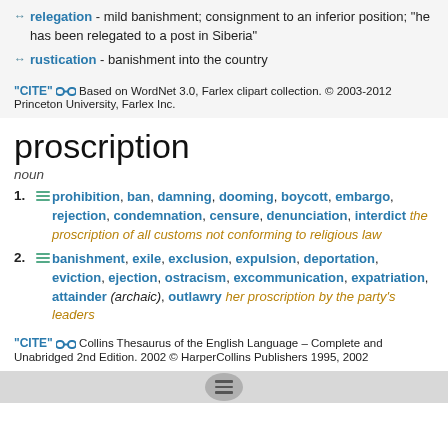↔ relegation - mild banishment; consignment to an inferior position; "he has been relegated to a post in Siberia"
↔ rustication - banishment into the country
"CITE" [link] Based on WordNet 3.0, Farlex clipart collection. © 2003-2012 Princeton University, Farlex Inc.
proscription
noun
1. [menu] prohibition, ban, damning, dooming, boycott, embargo, rejection, condemnation, censure, denunciation, interdict the proscription of all customs not conforming to religious law
2. [menu] banishment, exile, exclusion, expulsion, deportation, eviction, ejection, ostracism, excommunication, expatriation, attainder (archaic), outlawry her proscription by the party's leaders
"CITE" [link] Collins Thesaurus of the English Language – Complete and Unabridged 2nd Edition. 2002 © HarperCollins Publishers 1995, 2002